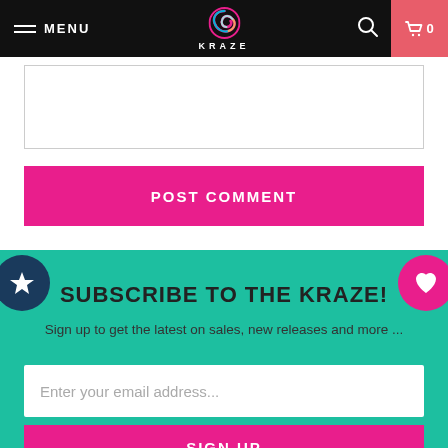MENU | KRAZE | 0
[Figure (screenshot): Text comment textarea (partially visible, white background with border)]
POST COMMENT
SUBSCRIBE TO THE KRAZE!
Sign up to get the latest on sales, new releases and more ...
Enter your email address...
SIGN UP